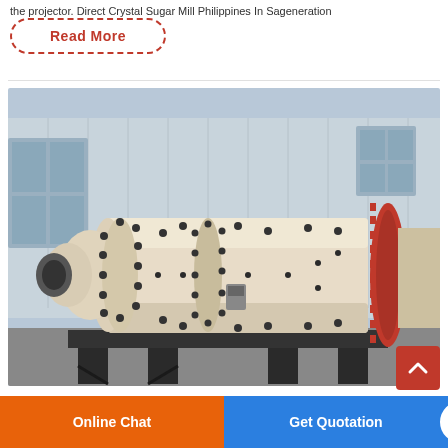the projector. Direct Crystal Sugar Mill Philippines In Sageneration
Read More
[Figure (photo): Large industrial ball mill machine mounted on black metal frame, photographed outdoors near a factory building. The mill is cream/beige colored with a large cylindrical drum, flanged ends with bolt patterns, and a red ring gear visible on the right side.]
Online Chat
Get Quotation